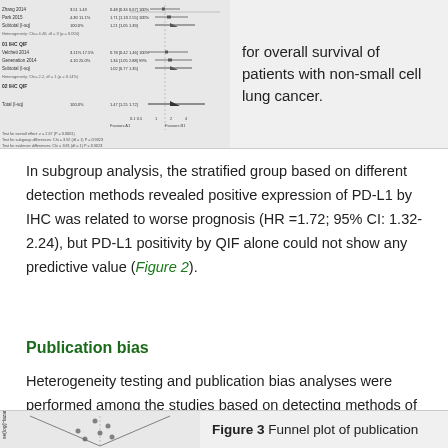[Figure (other): Forest plot for overall survival of patients with non-small cell lung cancer (top portion, cropped). Left panel shows forest plot data rows and diamond summary. Right panel shows descriptive text.]
for overall survival of patients with non-small cell lung cancer.
In subgroup analysis, the stratified group based on different detection methods revealed positive expression of PD-L1 by IHC was related to worse prognosis (HR =1.72; 95% CI: 1.32-2.24), but PD-L1 positivity by QIF alone could not show any predictive value (Figure 2).
Publication bias
Heterogeneity testing and publication bias analyses were performed among the studies based on detecting methods of PD-L1 expression. Egger’s and Begg’s test indicated no publication bias among these studies regarding HR about OS with P values of 0.764 and 0.657 respectively. The funnel plots were largely symmetric (Figure 3).
[Figure (other): Funnel plot of publication bias (bottom, partially visible). Left panel shows triangular funnel plot shape. Right panel shows caption text: Figure 3 Funnel plot of publication...]